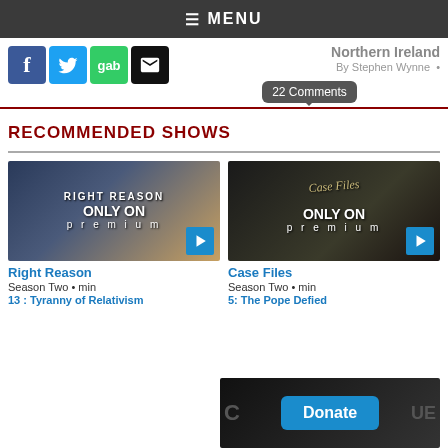≡ MENU
[Figure (logo): Social media share icons: Facebook (blue), Twitter (light blue), Gab (green), Email (black envelope)]
Northern Ireland
By Stephen Wynne •
22 Comments
RECOMMENDED SHOWS
[Figure (screenshot): Right Reason show thumbnail with 'ONLY ON premium' overlay and play button]
Right Reason
Season Two • min
13 : Tyranny of Relativism
[Figure (screenshot): Case Files show thumbnail with 'ONLY ON premium' overlay and play button]
Case Files
Season Two • min
5: The Pope Defied
[Figure (screenshot): Partial show thumbnail with Donate button overlay]